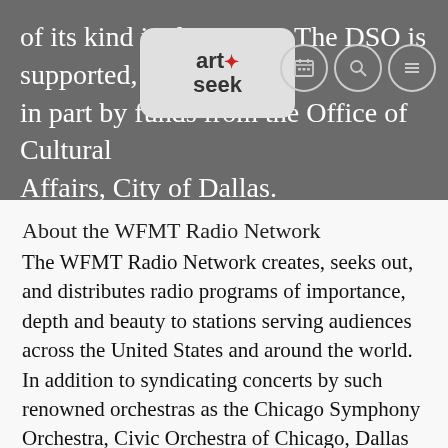of its kind in the nation. The DSO is supported, in part by funds from the Office of Cultural Affairs, City of Dallas.
[Figure (logo): ArtSeek logo — speech bubble shape with 'art seek' text and a red star, on a light grey rounded rectangle background]
[Figure (other): Navigation icons: calendar grid icon, search/magnifying glass icon, and hamburger menu icon, each in a circle outline]
About the WFMT Radio Network
The WFMT Radio Network creates, seeks out, and distributes radio programs of importance, depth and beauty to stations serving audiences across the United States and around the world. In addition to syndicating concerts by such renowned orchestras as the Chicago Symphony Orchestra, Civic Orchestra of Chicago, Dallas Symphony Orchestra, New York Philharmonic, Milwaukee Symphony Orchestra, Los Angeles Philharmonic, Deutsche Welle Festival